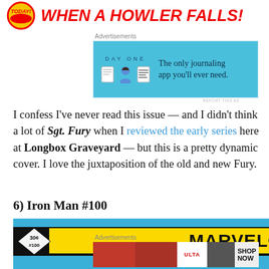[Figure (illustration): Top banner showing a comic book logo/badge on the left and bold red italic text reading 'WHEN A HOWLER FALLS!' on the right]
Advertisements
[Figure (screenshot): Day One journaling app advertisement with blue background showing app icons and text: 'The only journaling app you'll ever need.']
I confess I've never read this issue — and I didn't think a lot of Sgt. Fury when I reviewed the early series here at Longbox Graveyard — but this is a pretty dynamic cover. I love the juxtaposition of the old and new Fury.
6) Iron Man #100
[Figure (photo): Top portion of a Marvel Comics Group comic book cover for Iron Man #100, showing yellow banner with black text 'MARVEL COMICS GROUP', price '30¢' and issue '#100']
Advertisements
[Figure (screenshot): Ulta Beauty advertisement showing makeup/cosmetics imagery with text 'SHOP NOW']